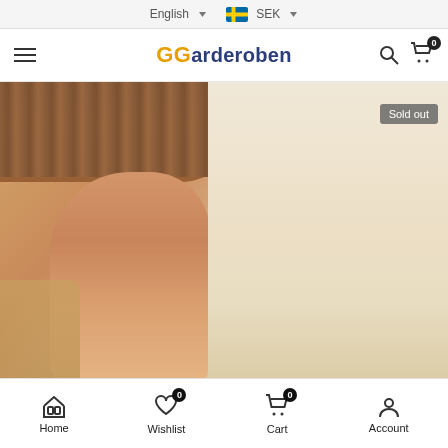English ∨  SEK ∨
[Figure (screenshot): GGarderoben e-commerce website navigation bar with hamburger menu, logo, search and cart icons]
[Figure (photo): Product photo showing a woman wearing a brown pleated skirt, with a Sold out badge in top right corner]
Home  Wishlist 0  Cart 0  Account